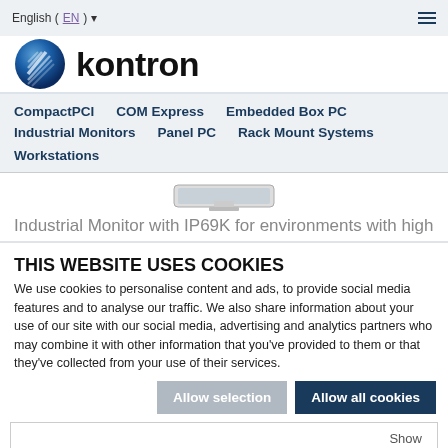English (EN) ▾
[Figure (logo): Kontron company logo with blue spherical icon and bold 'kontron' wordmark]
CompactPCI   COM Express   Embedded Box PC   Industrial Monitors   Panel PC   Rack Mount Systems   Workstations
[Figure (photo): Industrial monitor device shown partially]
Industrial Monitor with IP69K for environments with high
THIS WEBSITE USES COOKIES
We use cookies to personalise content and ads, to provide social media features and to analyse our traffic. We also share information about your use of our site with our social media, advertising and analytics partners who may combine it with other information that you've provided to them or that they've collected from your use of their services.
Allow selection   Allow all cookies
✓ Necessary   □ Preferences   □ Statistics   □ Marketing   Show details ▾